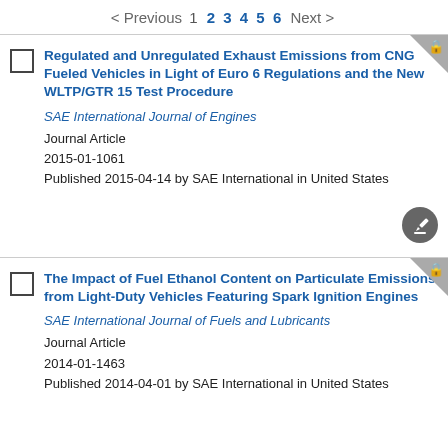< Previous  1  2  3  4  5  6  Next >
Regulated and Unregulated Exhaust Emissions from CNG Fueled Vehicles in Light of Euro 6 Regulations and the New WLTP/GTR 15 Test Procedure
SAE International Journal of Engines
Journal Article
2015-01-1061
Published 2015-04-14 by SAE International in United States
The Impact of Fuel Ethanol Content on Particulate Emissions from Light-Duty Vehicles Featuring Spark Ignition Engines
SAE International Journal of Fuels and Lubricants
Journal Article
2014-01-1463
Published 2014-04-01 by SAE International in United States